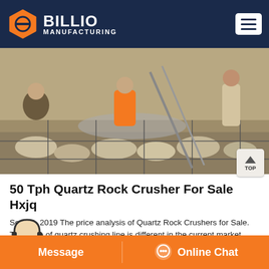BILLIO MANUFACTURING
[Figure (photo): Construction workers laying rocks and concrete with rebar reinforcement on a work site. Workers in orange jumpsuits visible.]
50 Tph Quartz Rock Crusher For Sale Hxjq
Sep 09, 2019 The price analysis of Quartz Rock Crushers for Sale. The price of quartz crushing line is different in the current market, because the price of such crushers is affected by several factors, and the specific